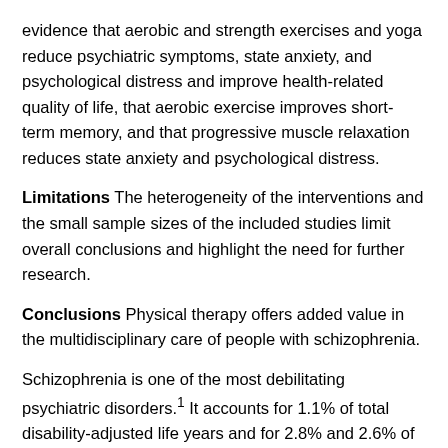evidence that aerobic and strength exercises and yoga reduce psychiatric symptoms, state anxiety, and psychological distress and improve health-related quality of life, that aerobic exercise improves short-term memory, and that progressive muscle relaxation reduces state anxiety and psychological distress.
Limitations The heterogeneity of the interventions and the small sample sizes of the included studies limit overall conclusions and highlight the need for further research.
Conclusions Physical therapy offers added value in the multidisciplinary care of people with schizophrenia.
Schizophrenia is one of the most debilitating psychiatric disorders.1 It accounts for 1.1% of total disability-adjusted life years and for 2.8% and 2.6% of years lived with disability for men and women, respectively. In addition, it is the fifth leading cause of disability-adjusted life years worldwide in people who are 15 to 44 years old.2